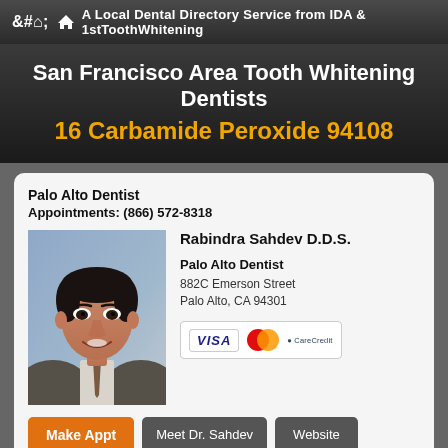A Local Dental Directory Service from IDA & 1stToothWhitening
San Francisco Area Tooth Whitening Dentists
16 Carbamide Peroxide 94108
Palo Alto Dentist
Appointments: (866) 572-8318
[Figure (photo): Headshot photo of Dr. Rabindra Sahdev D.D.S., a man in a suit and tie smiling against a blue-grey background]
Rabindra Sahdev D.D.S.
Palo Alto Dentist
882C Emerson Street
Palo Alto, CA 94301
[Figure (other): Payment method icons: VISA, MasterCard, CareCredit]
Make Appt   Meet Dr. Sahdev   Website
more info ...